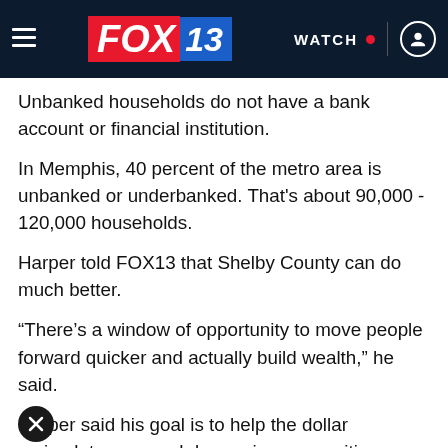FOX 13 — WATCH
Unbanked households do not have a bank account or financial institution.
In Memphis, 40 percent of the metro area is unbanked or underbanked. That's about 90,000 - 120,000 households.
Harper told FOX13 that Shelby County can do much better.
“There’s a window of opportunity to move people forward quicker and actually build wealth,” he said.
Harper said his goal is to help the dollar recirculate for much longer in communities, which will create jobs and businesses.